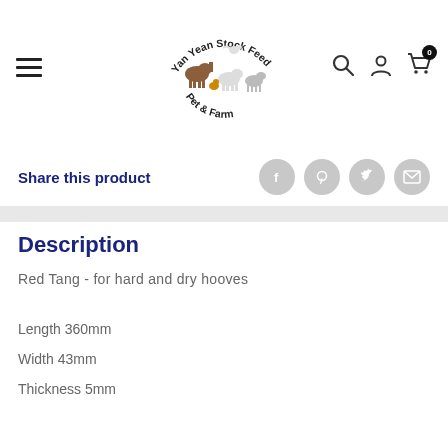Yan Yean Stock Feed Pet & Farm
Share this product
Description
Red Tang - for hard and dry hooves
Length 360mm
Width 43mm
Thickness 5mm